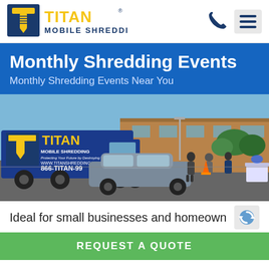[Figure (logo): Titan Mobile Shredding logo with yellow 'T' screw icon and yellow 'TITAN' text on navy blue background, with 'MOBILE SHREDDING' text below in navy]
[Figure (other): Phone handset icon in dark navy blue]
[Figure (other): Hamburger menu icon (three horizontal lines) on light gray rounded rectangle background]
Monthly Shredding Events
Monthly Shredding Events Near You
[Figure (photo): Outdoor parking lot scene showing a large Titan Mobile Shredding truck (blue with yellow Titan logo, phone number 866-TITAN-99 and website www.titanshredding.com), a gray sedan, several people standing around, orange traffic cones, and a brick school-type building in the background under a clear blue sky.]
Ideal for small businesses and homeown
[Figure (other): reCAPTCHA badge icon in blue and gray]
REQUEST A QUOTE